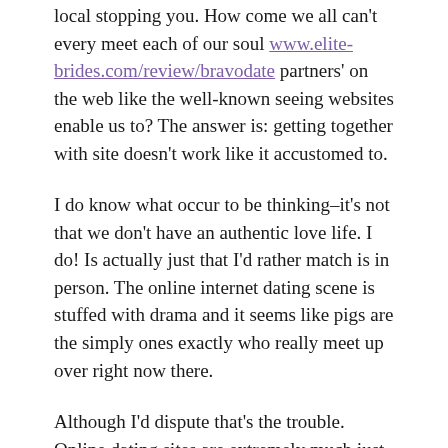local stopping you. How come we all can't every meet each of our soul www.elite-brides.com/review/bravodate partners' on the web like the well-known seeing websites enable us to? The answer is: getting together with site doesn't work like it accustomed to.
I do know what occur to be thinking–it's not that we don't have an authentic love life. I do! Is actually just that I'd rather match is in person. The online internet dating scene is stuffed with drama and it seems like pigs are the simply ones exactly who really meet up over right now there.
Although I'd dispute that's the trouble. Online dating sites are extremely much just like high high schools and that's where the trouble starts. Young people experiment with online dating since they can't say for sure anyone who lives near them. They come across as interesting and